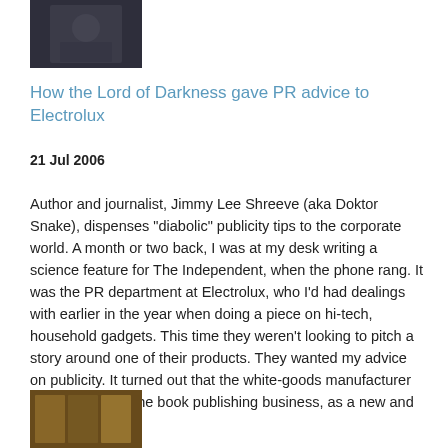[Figure (photo): A person holding a camera, dark clothing, thumbnail image at top]
How the Lord of Darkness gave PR advice to Electrolux
21 Jul 2006
Author and journalist, Jimmy Lee Shreeve (aka Doktor Snake), dispenses "diabolic" publicity tips to the corporate world. A month or two back, I was at my desk writing a science feature for The Independent, when the phone rang. It was the PR department at Electrolux, who I'd had dealings with earlier in the year when doing a piece on hi-tech, household gadgets. This time they weren't looking to pitch a story around one of their products. They wanted my advice on publicity. It turned out that the white-goods manufacturer had moved into the book publishing business, as a new and nov...Read more
[Figure (photo): A partial thumbnail image at the bottom, appears to show books or text materials]